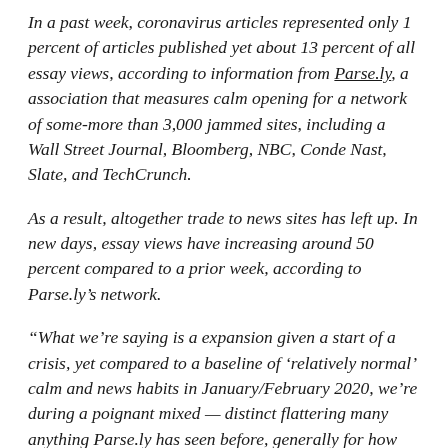In a past week, coronavirus articles represented only 1 percent of articles published yet about 13 percent of all essay views, according to information from Parse.ly, a association that measures calm opening for a network of some-more than 3,000 jammed sites, including a Wall Street Journal, Bloomberg, NBC, Conde Nast, Slate, and TechCrunch.
As a result, altogether trade to news sites has left up. In new days, essay views have increasing around 50 percent compared to a prior week, according to Parse.ly's network.
“What we’re saying is a expansion given a start of a crisis, yet compared to a baseline of ‘relatively normal’ calm and news habits in January/February 2020, we’re during a poignant mixed — distinct flattering many anything Parse.ly has seen before, generally for how